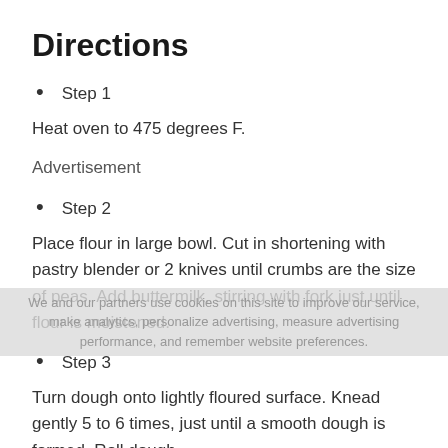Directions
Step 1
Heat oven to 475 degrees F.
Advertisement
Step 2
Place flour in large bowl. Cut in shortening with pastry blender or 2 knives until crumbs are the size of peas. Add buttermilk, stirring with fork just until flour is moistened.
Step 3
Turn dough onto lightly floured surface. Knead gently 5 to 6 times, just until a smooth dough is formed. Roll dough